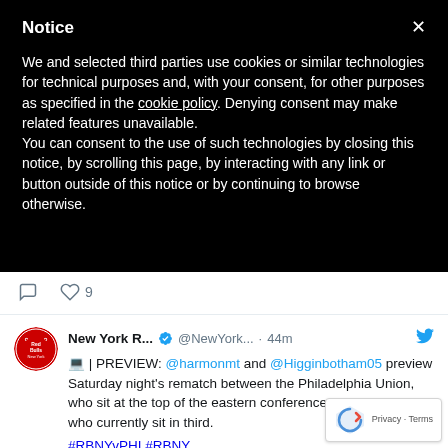Notice
We and selected third parties use cookies or similar technologies for technical purposes and, with your consent, for other purposes as specified in the cookie policy. Denying consent may make related features unavailable.
You can consent to the use of such technologies by closing this notice, by scrolling this page, by interacting with any link or button outside of this notice or by continuing to browse otherwise.
[Figure (screenshot): Twitter feed showing tweet action icons (comment, heart with count 9) and a tweet from New York R... (@NewYork...) posted 44m ago with Red Bulls verified account logo, text about a preview featuring @harmonmt and @Higginbotham05 previewing Saturday night's rematch between the Philadelphia Union, who sit at the top of the eastern conference, and the Red Bulls who currently sit in third. Hashtags #RBNYvPHI #RBNY visible at bottom.]